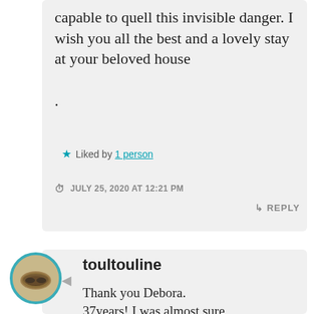capable to quell this invisible danger. I wish you all the best and a lovely stay at your beloved house .
★ Liked by 1 person
JULY 25, 2020 AT 12:21 PM
↳ REPLY
toultouline
Thank you Debora. 37years! I was almost sure